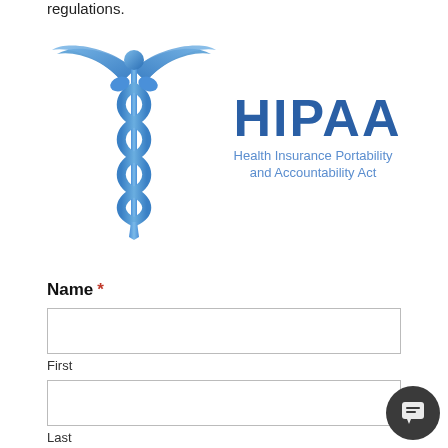regulations.
[Figure (logo): HIPAA logo with caduceus medical symbol on the left and 'HIPAA' in large bold blue text on the right, with subtitle 'Health Insurance Portability and Accountability Act']
Name *
First
Last